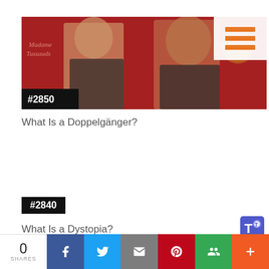[Figure (photo): Two women in patterned dresses standing in front of a red Madame Tussauds backdrop, appearing to be a person and their wax figure doppelganger. A hamburger menu icon overlay appears in the top right corner.]
#2850
What Is a Doppelgänger?
#2840
What Is a Dystopia?